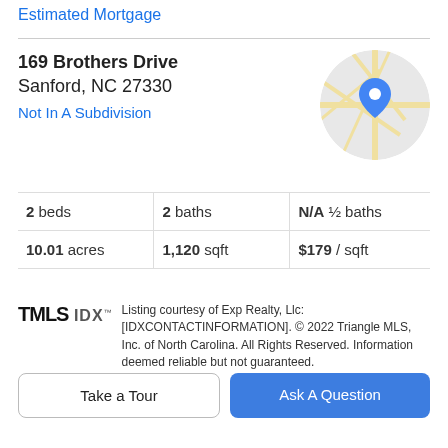Estimated Mortgage
169 Brothers Drive
Sanford, NC 27330
Not In A Subdivision
[Figure (map): Circular map thumbnail showing street map with blue location pin marker for 169 Brothers Drive, Sanford NC]
| 2 beds | 2 baths | N/A ½ baths |
| 10.01 acres | 1,120 sqft | $179 / sqft |
Listing courtesy of Exp Realty, Llc: [IDXCONTACTINFORMATION]. © 2022 Triangle MLS, Inc. of North Carolina. All Rights Reserved. Information deemed reliable but not guaranteed.
Property Description
Thoughtfully updated and sitting on 10 beautiful acres in
move-in ready and also has a lot of potential for building
Take a Tour
Ask A Question